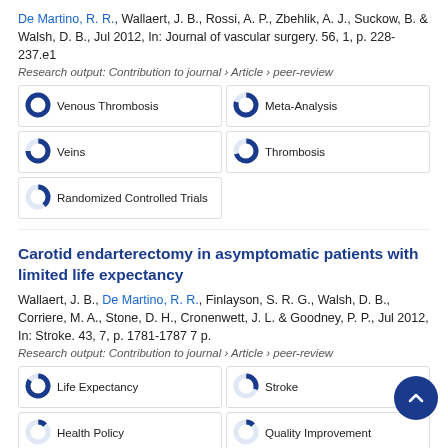De Martino, R. R., Wallaert, J. B., Rossi, A. P., Zbehlik, A. J., Suckow, B. & Walsh, D. B., Jul 2012, In: Journal of vascular surgery. 56, 1, p. 228-237.e1
Research output: Contribution to journal › Article › peer-review
[Figure (infographic): Five keyword badges with donut-chart icons: Venous Thrombosis (~100%), Meta-Analysis (~80%), Veins (~75%), Thrombosis (~70%), Randomized Controlled Trials (~40%)]
Carotid endarterectomy in asymptomatic patients with limited life expectancy
Wallaert, J. B., De Martino, R. R., Finlayson, S. R. G., Walsh, D. B., Corriere, M. A., Stone, D. H., Cronenwett, J. L. & Goodney, P. P., Jul 2012, In: Stroke. 43, 7, p. 1781-1787 7 p.
Research output: Contribution to journal › Article › peer-review
[Figure (infographic): Four visible keyword badges with donut-chart icons: Life Expectancy (~85%), Stroke (~30%), Health Policy (~12%), Quality Improvement (~12%), and a partially visible fifth badge]
[Figure (other): Scroll-to-top circular dark blue button with upward chevron]